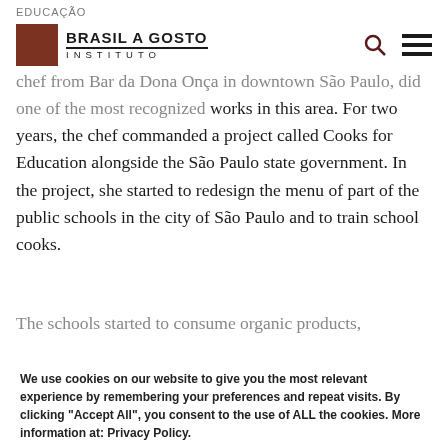EDUCAÇÃO
[Figure (logo): Brasil a Gosto Instituto logo with red square and bold text]
chef from Bar da Dona Onça in downtown São Paulo, did one of the most recognized works in this area. For two years, the chef commanded a project called Cooks for Education alongside the São Paulo state government. In the project, she started to redesign the menu of part of the public schools in the city of São Paulo and to train school cooks.
The schools started to consume organic products,
We use cookies on our website to give you the most relevant experience by remembering your preferences and repeat visits. By clicking "Accept All", you consent to the use of ALL the cookies. More information at: Privacy Policy.